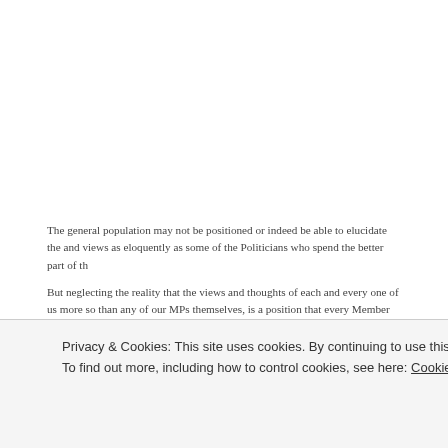The general population may not be positioned or indeed be able to elucidate the and views as eloquently as some of the Politicians who spend the better part of th
But neglecting the reality that the views and thoughts of each and every one of us more so than any of our MPs themselves, is a position that every Member of Par considering in light of how clear the desperate nature of our Prime Minister's and on Brexit has now become.
We are faced with a situation where MPs should know from a catalogue of past e not going to play ball over reopening May's 'deal'. Just as it should be very clear Minister prepared to do and say anything to stay in Office and keep her legacy in Withdrawal Agreement untouched and very much alive.
It is in light of this reality that we now see the possibility of pork barrel politics em
Privacy & Cookies: This site uses cookies. By continuing to use this website, you agree to their use. To find out more, including how to control cookies, see here: Cookie Policy
Close and accept